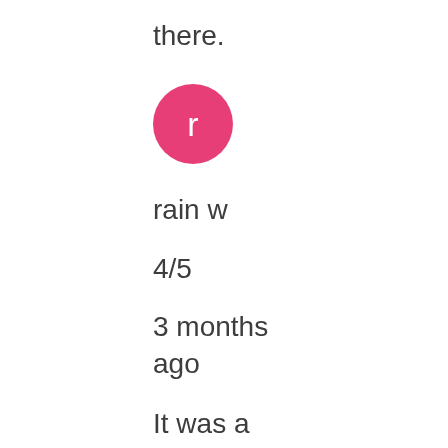there.
[Figure (illustration): Pink circular avatar with white lowercase letter 'r']
rain w
4/5
3 months ago
It was a interesting museum. Its pretty small but has a lot